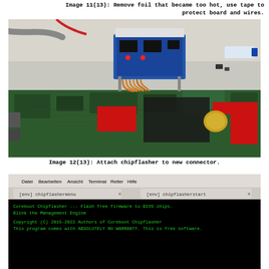Image 11(13): Remove foil that became too hot, use tape to protect board and wires.
[Figure (photo): Photo of a laptop motherboard with red tape patches on it, and a chipflasher device (small circuit board on standoffs) connected via ribbon cables to the motherboard connector. The motherboard is on a white desk surface.]
Image 12(13): Attach chipflasher to new connector.
[Figure (screenshot): Screenshot of a terminal application (Linux) showing two panes: left pane titled '[env] chipflashermenu' and right pane titled '[env] chipflasherstart'. The terminal shows Coreboot Chipflasher output text in green on black background: 'Coreboot Chipflasher --- Flash free firmware to BIOS chips. Blink the Management Engine' and 'Copyright (C) 2015-2022 Authors of Coreboot Chipflasher This program comes with ABSOLUTELY NO WARRANTY. This is free software.']